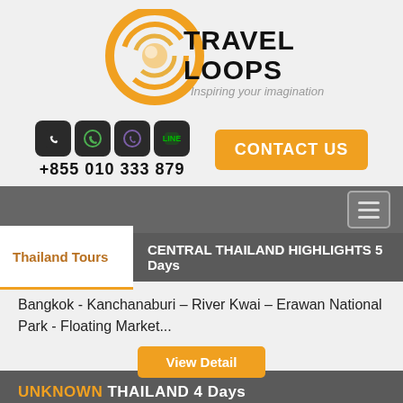[Figure (logo): Travel Loops logo with orange circular swirl graphic and text 'TRAVEL LOOPS' with tagline 'Inspiring your imagination']
+855 010 333 879
CONTACT US
Thailand Tours
CENTRAL THAILAND HIGHLIGHTS 5 Days
Bangkok - Kanchanaburi – River Kwai – Erawan National Park - Floating Market...
View Detail
UNKNOWN THAILAND 4 Days